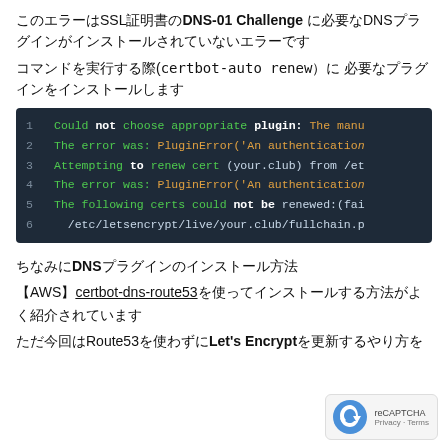このエラーはSSL証明書のDNS-01 Challenge に必要なDNSプラグインがインストールされていないエラーです
コマンドを実行する際(certbot-auto renew）に 必要なプラグインをインストールします
[Figure (screenshot): Terminal output showing certbot renewal error messages. Lines: 1: Could not choose appropriate plugin: The manu... 2: The error was: PluginError('An authentication... 3: Attempting to renew cert (your.club) from /et... 4: The error was: PluginError('An authentication... 5: The following certs could not be renewed:(fai... 6:   /etc/letsencrypt/live/your.club/fullchain.p]
ちなみにDNSプラグインのインストール方法
【AWSは】certbot-dns-route53を使ってインストールする方法がよく紹介されています
ただ今回はRoute53を使わずにLet's Encryptを更新するやり方を